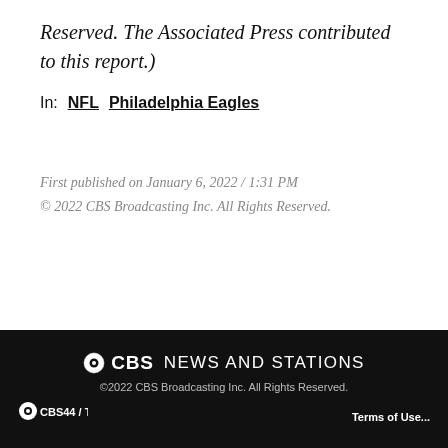Reserved. The Associated Press contributed to this report.)
In: NFL  Philadelphia Eagles
First published on January 6, 2022 / 1:31 PM
© 2022 CBS Broadcasting Inc. All Rights Reserved.
©CBS NEWS AND STATIONS
©2022 CBS Broadcasting Inc. All Rights Reserved.